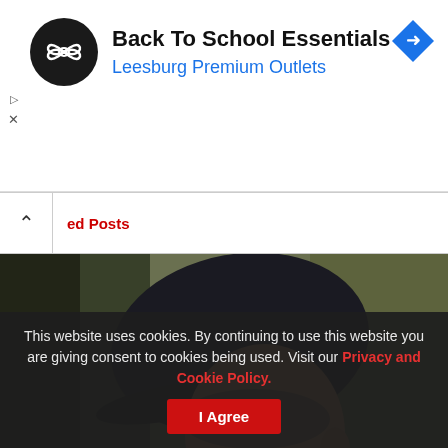[Figure (infographic): Advertisement banner for Back To School Essentials at Leesburg Premium Outlets, with circular black logo featuring infinity-like symbol on left, blue navigation diamond icon on right, and small play/close controls on far left.]
Back To School Essentials
Leesburg Premium Outlets
ed Posts
[Figure (photo): Close-up photograph of an older man wearing a dark baseball cap, looking downward, in a dimly lit setting.]
This website uses cookies. By continuing to use this website you are giving consent to cookies being used. Visit our Privacy and Cookie Policy.
I Agree